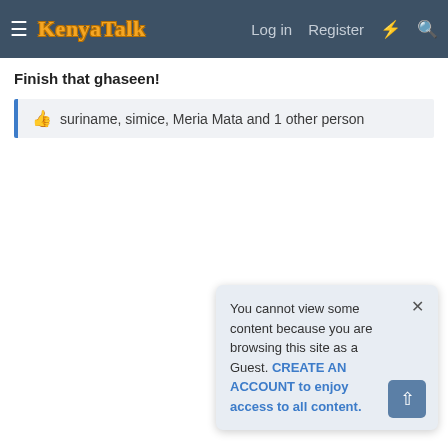KenyaTalk — Log in   Register
Finish that ghaseen!
suriname, simice, Meria Mata and 1 other person
You cannot view some content because you are browsing this site as a Guest. CREATE AN ACCOUNT to enjoy access to all content.